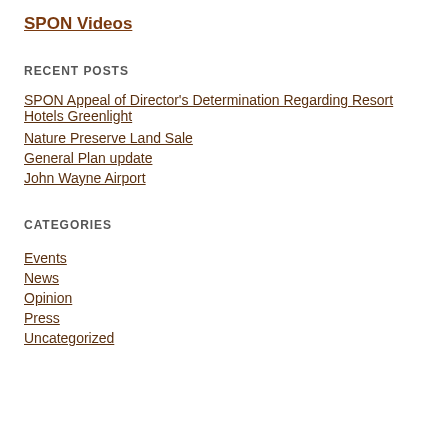SPON Videos
RECENT POSTS
SPON Appeal of Director's Determination Regarding Resort Hotels Greenlight
Nature Preserve Land Sale
General Plan update
John Wayne Airport
CATEGORIES
Events
News
Opinion
Press
Uncategorized